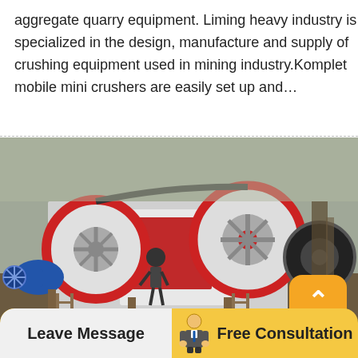aggregate quarry equipment. Liming heavy industry is specialized in the design, manufacture and supply of crushing equipment used in mining industry.Komplet mobile mini crushers are easily set up and…
[Figure (photo): Industrial jaw crusher machine with large red-rimmed flywheels, a blue electric motor on the left, and workers operating the equipment on a steel frame structure at a quarry or mining site.]
Leave Message
Free Consultation